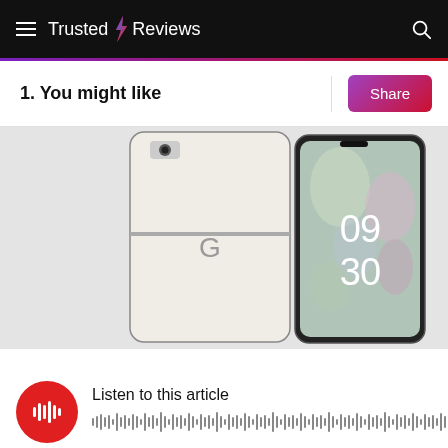Trusted Reviews
1. You might like
[Figure (photo): Two Google Pixel Fold smartphones shown side by side — one showing the cream/white back with Google G logo, the other showing the front display with floral wallpaper and time reading 09:30]
Listen to this article